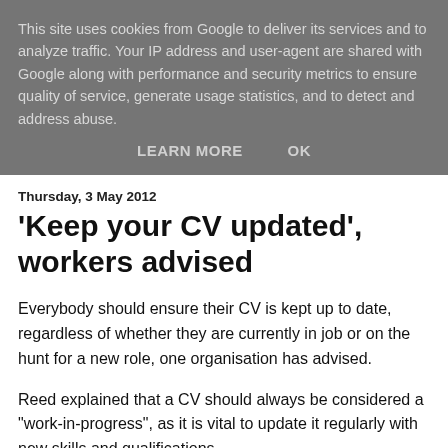This site uses cookies from Google to deliver its services and to analyze traffic. Your IP address and user-agent are shared with Google along with performance and security metrics to ensure quality of service, generate usage statistics, and to detect and address abuse.
LEARN MORE   OK
Thursday, 3 May 2012
'Keep your CV updated', workers advised
Everybody should ensure their CV is kept up to date, regardless of whether they are currently in job or on the hunt for a new role, one organisation has advised.
Reed explained that a CV should always be considered a "work-in-progress", as it is vital to update it regularly with new skills and qualifications.
To boost the chances of landing an interview, it is necessary